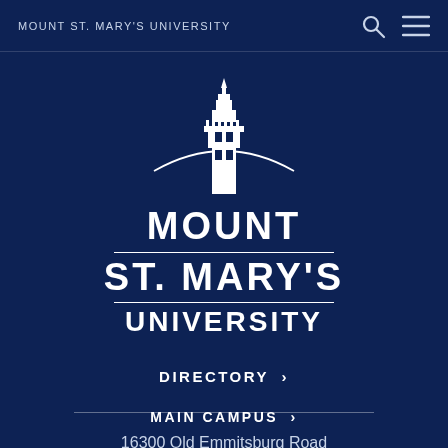MOUNT ST. MARY'S UNIVERSITY
[Figure (logo): Mount St. Mary's University logo with tower/lighthouse illustration above text reading MOUNT ST. MARY'S UNIVERSITY in white on dark navy background]
DIRECTORY ›
MAIN CAMPUS ›
16300 Old Emmitsburg Road
Emmitsburg, MD 21727